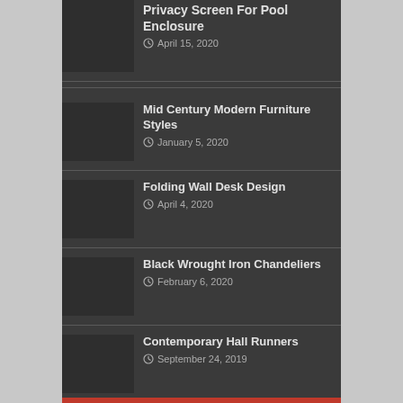Privacy Screen For Pool Enclosure
April 15, 2020
Mid Century Modern Furniture Styles
January 5, 2020
Folding Wall Desk Design
April 4, 2020
Black Wrought Iron Chandeliers
February 6, 2020
Contemporary Hall Runners
September 24, 2019
French Bistro Tables And Chairs